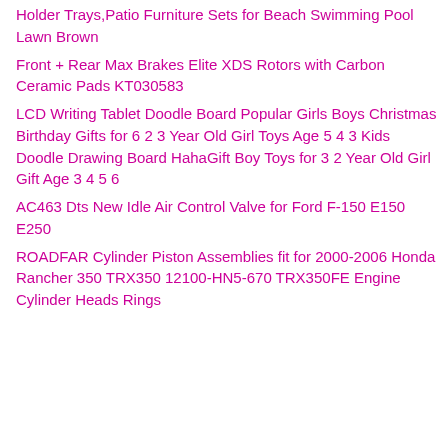Holder Trays,Patio Furniture Sets for Beach Swimming Pool Lawn Brown
Front + Rear Max Brakes Elite XDS Rotors with Carbon Ceramic Pads KT030583
LCD Writing Tablet Doodle Board Popular Girls Boys Christmas Birthday Gifts for 6 2 3 Year Old Girl Toys Age 5 4 3 Kids Doodle Drawing Board HahaGift Boy Toys for 3 2 Year Old Girl Gift Age 3 4 5 6
AC463 Dts New Idle Air Control Valve for Ford F-150 E150 E250
ROADFAR Cylinder Piston Assemblies fit for 2000-2006 Honda Rancher 350 TRX350 12100-HN5-670 TRX350FE Engine Cylinder Heads Rings